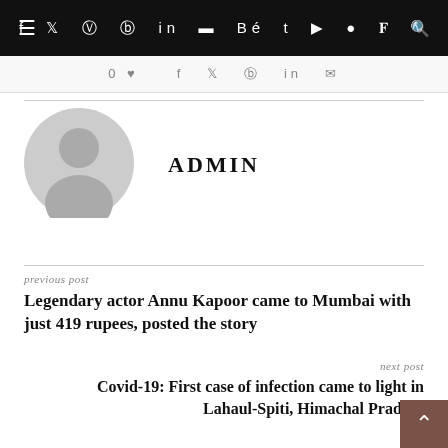≡  f  𝕏  ⊙  ⊕  in  ⬛  Bé  t  ▶  ⚬  V  ∿  🔍
[Figure (screenshot): Social share icons strip: heart/like icon with 0, share icons for Facebook, Twitter, Pinterest, LinkedIn, WhatsApp]
[Figure (illustration): Default user avatar - grey circle with person silhouette]
ADMIN
previous post
Legendary actor Annu Kapoor came to Mumbai with just 419 rupees, posted the story
next post
Covid-19: First case of infection came to light in Lahaul-Spiti, Himachal Pradesh